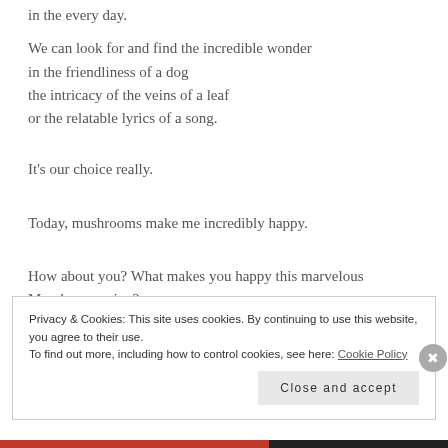in the every day.
We can look for and find the incredible wonder
in the friendliness of a dog
the intricacy of the veins of a leaf
or the relatable lyrics of a song.
It's our choice really.
Today, mushrooms make me incredibly happy.
How about you? What makes you happy this marvelous Monday morning?
Privacy & Cookies: This site uses cookies. By continuing to use this website, you agree to their use.
To find out more, including how to control cookies, see here: Cookie Policy
Close and accept